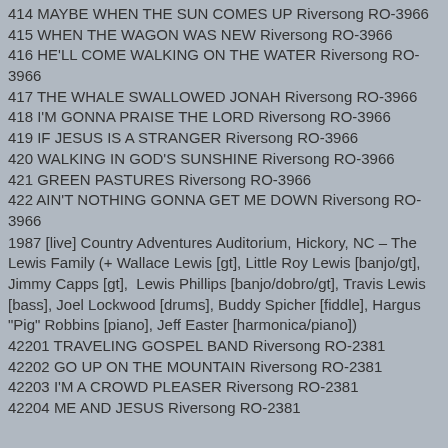414 MAYBE WHEN THE SUN COMES UP  Riversong RO-3966
415 WHEN THE WAGON WAS NEW  Riversong RO-3966
416 HE'LL COME WALKING ON THE WATER  Riversong RO-3966
417 THE WHALE SWALLOWED JONAH  Riversong RO-3966
418 I'M GONNA PRAISE THE LORD  Riversong RO-3966
419 IF JESUS IS A STRANGER  Riversong RO-3966
420 WALKING IN GOD'S SUNSHINE  Riversong RO-3966
421 GREEN PASTURES  Riversong RO-3966
422 AIN'T NOTHING GONNA GET ME DOWN  Riversong RO-3966
1987 [live] Country Adventures Auditorium, Hickory, NC – The Lewis Family (+ Wallace Lewis [gt], Little Roy Lewis [banjo/gt], Jimmy Capps [gt],  Lewis Phillips [banjo/dobro/gt], Travis Lewis [bass], Joel Lockwood [drums], Buddy Spicher [fiddle], Hargus "Pig" Robbins [piano], Jeff Easter [harmonica/piano])
42201 TRAVELING GOSPEL BAND  Riversong RO-2381
42202 GO UP ON THE MOUNTAIN  Riversong RO-2381
42203 I'M A CROWD PLEASER  Riversong RO-2381
42204 ME AND JESUS  Riversong RO-2381